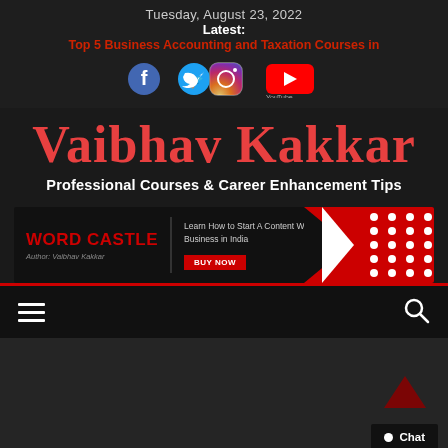Tuesday, August 23, 2022
Latest:
Top 5 Business Accounting and Taxation Courses in
[Figure (infographic): Social media icons: Facebook, Twitter, Instagram, YouTube]
Vaibhav Kakkar
Professional Courses & Career Enhancement Tips
[Figure (infographic): Word Castle advertisement banner. WORD CASTLE in red, Author: Vaibhav Kakkar in grey. Text: Learn How to Start A Content Writing Business in India. BUY NOW button in red. Right side has red and white chevron/dots design.]
[Figure (infographic): Navigation bar with hamburger menu icon on left and search icon on right on dark background with red top border]
[Figure (infographic): Dark grey content area with red upward arrow and Chat button in bottom right corner]